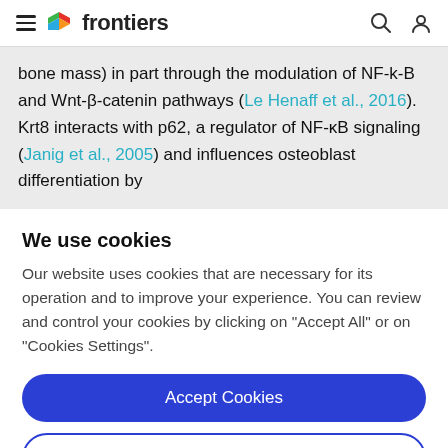frontiers
bone mass) in part through the modulation of NF-k-B and Wnt-β-catenin pathways (Le Henaff et al., 2016). Krt8 interacts with p62, a regulator of NF-κB signaling (Janig et al., 2005) and influences osteoblast differentiation by
We use cookies
Our website uses cookies that are necessary for its operation and to improve your experience. You can review and control your cookies by clicking on "Accept All" or on "Cookies Settings".
Accept Cookies
Cookies Settings